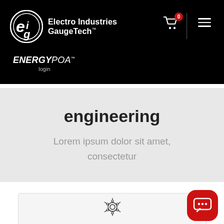[Figure (logo): Electro Industries GaugeTech logo — circular EIG emblem with white text on black background]
Electro Industries GaugeTech™
ENERGYPOA™ login
engineering
Lorem ipsum dolor sit amet, consectetur
[Figure (illustration): Molecular/network structure icon — interconnected hexagonal rings with nodes, dark outline style]